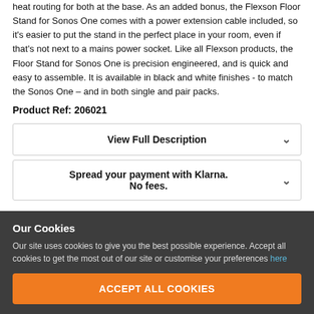heat routing for both at the base. As an added bonus, the Flexson Floor Stand for Sonos One comes with a power extension cable included, so it's easier to put the stand in the perfect place in your room, even if that's not next to a mains power socket. Like all Flexson products, the Floor Stand for Sonos One is precision engineered, and is quick and easy to assemble. It is available in black and white finishes - to match the Sonos One – and in both single and pair packs.
Product Ref: 206021
View Full Description
Spread your payment with Klarna. No fees.
View Finance Options
Alternatively, buy now, in-pack, buy 2 and save. Included.
Our Cookies
Our site uses cookies to give you the best possible experience. Accept all cookies to get the most out of our site or customise your preferences here
ACCEPT ALL COOKIES